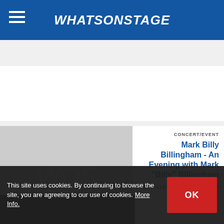WhatsOnStage
Search show title, actor, or keyword
[Figure (screenshot): WOS placeholder image (grey with white WOS text) for first listing card]
[Figure (screenshot): WOS placeholder image (grey with white WOS text) for second listing card - Mark Billy Billingham]
CONCERT/EVENT
Mark Billy Billingham - An Evening with Mark "Billy" Billingham
One Night Only: 06 March 2022
This site uses cookies. By continuing to browse the site, you are agreeing to our use of cookies. More Info.